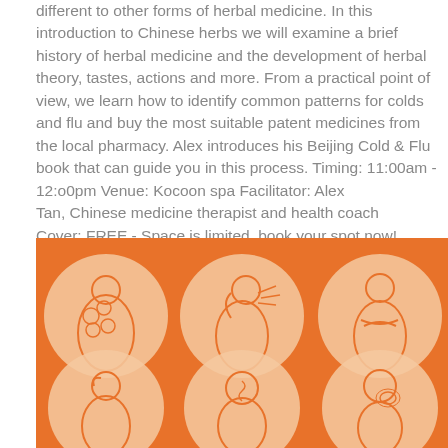different to other forms of herbal medicine. In this introduction to Chinese herbs we will examine a brief history of herbal medicine and the development of herbal theory, tastes, actions and more. From a practical point of view, we learn how to identify common patterns for colds and flu and buy the most suitable patent medicines from the local pharmacy. Alex introduces his Beijing Cold & Flu book that can guide you in this process. Timing: 11:00am - 12:00pm Venue: Kocoon spa Facilitator: Alex Tan, Chinese medicine therapist and health coach Cover: FREE - Space is limited, book your spot now!
[Figure (illustration): Orange background illustration showing six circular icons depicting various ailment symptoms: a person with cupping circles on their back and stomach, a person coughing/sneezing, a person with arms crossed (chills), a person holding their head (headache), a person with a spiral on their head (dizziness), and a person with throat/inflammation shown.]